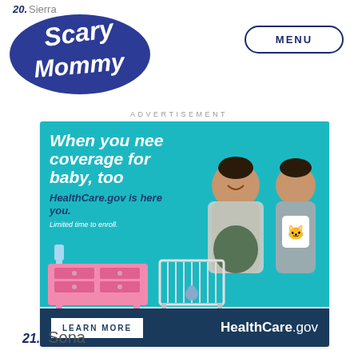20. Sierra — Scary Mommy
ADVERTISEMENT
[Figure (illustration): HealthCare.gov advertisement banner featuring a pregnant woman and man holding a baby onesie on a teal background. Text reads: 'When you need coverage for baby, too. HealthCare.gov is here for you. Limited time to enroll.' Bottom bar shows 'LEARN MORE' button and 'HealthCare.gov' branding on dark blue background. Illustrated dresser and crib in foreground.]
21. Sona